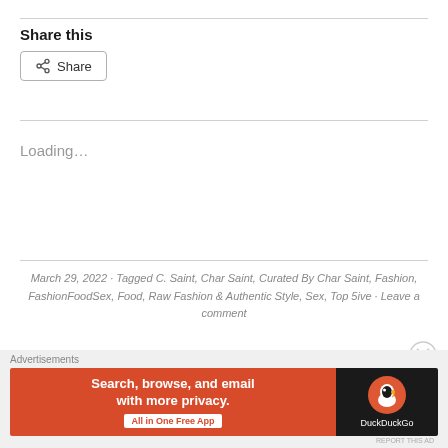Share this
Share button
Loading...
March 29, 2022 · Tagged C. Saint, Char Saint, Curated By Char Saint, Fashion, FashionFoodSex, Food, Raw Fashion & Authentic Style, Sex, Top 5ive · Leave a comment
[Figure (illustration): DuckDuckGo advertisement banner: orange left panel with text 'Search, browse, and email with more privacy. All in One Free App' and dark right panel with DuckDuckGo duck logo]